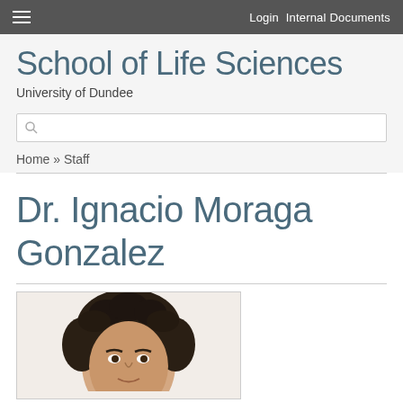Login  Internal Documents
School of Life Sciences
University of Dundee
Home » Staff
Dr. Ignacio Moraga Gonzalez
[Figure (photo): Portrait photo of Dr. Ignacio Moraga Gonzalez, a man with dark curly hair, cropped at mid-face, shown against a white background.]